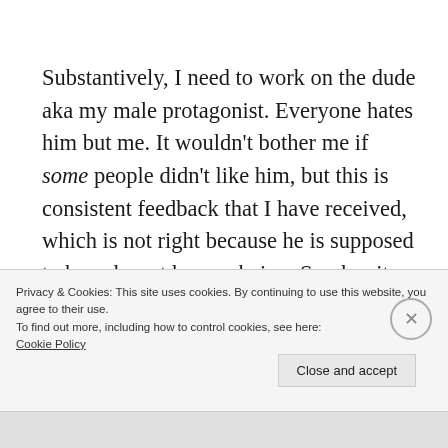Substantively, I need to work on the dude aka my male protagonist. Everyone hates him but me. It wouldn't bother me if some people didn't like him, but this is consistent feedback that I have received, which is not right because he is supposed to be a decent human being. So, despite my previous resistance, I'm going to try re-writing his chapters in the first person. That is supposed to be the perspective that people
Privacy & Cookies: This site uses cookies. By continuing to use this website, you agree to their use.
To find out more, including how to control cookies, see here:
Cookie Policy
Close and accept